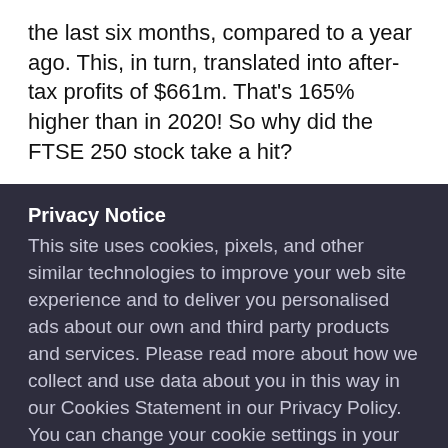the last six months, compared to a year ago. This, in turn, translated into after-tax profits of $661m. That's 165% higher than in 2020! So why did the FTSE 250 stock take a hit?
Privacy Notice
This site uses cookies, pixels, and other similar technologies to improve your web site experience and to deliver you personalised ads about our own and third party products and services. Please read more about how we collect and use data about you in this way in our Cookies Statement in our Privacy Policy. You can change your cookie settings in your browser at any time.